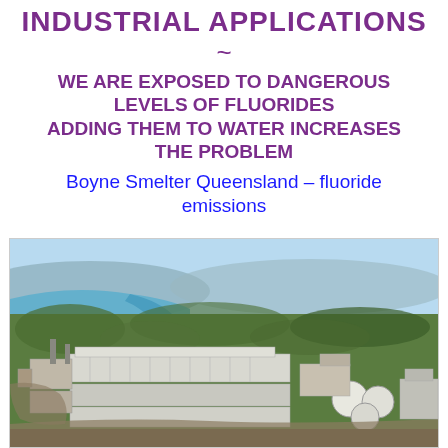INDUSTRIAL APPLICATIONS
~
WE ARE EXPOSED TO DANGEROUS LEVELS OF FLUORIDES
ADDING THEM TO WATER INCREASES THE PROBLEM
Boyne Smelter Queensland – fluoride emissions
[Figure (photo): Aerial photograph of Boyne Smelter industrial facility in Queensland, showing large industrial buildings, smelting plant structures, storage tanks, and surrounding landscape with coastline and forest in the background.]